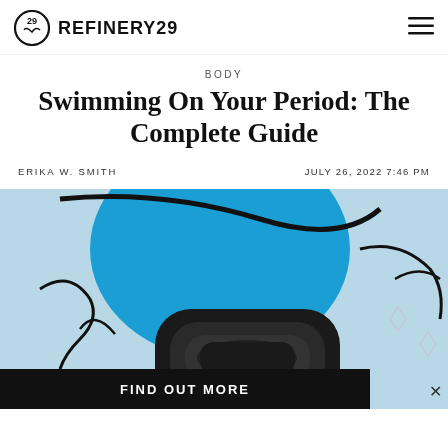REFINERY29
BODY
Swimming On Your Period: The Complete Guide
ERIKA W. SMITH    JULY 26, 2022 7:46 PM
[Figure (illustration): Illustrated hero image with cartoon-style blue swimming figure and a dark induction cooktop/device in the foreground, on a light blue background. A 'FIND OUT MORE' banner overlays the bottom of the image with an X close button.]